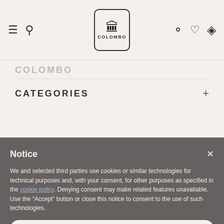[Figure (screenshot): Navigation bar with hamburger menu, search icon, Colombo logo (building icon in rounded rectangle), user/account icon, heart/wishlist icon, and shopping bag icon]
COLOMBO
CATEGORIES
Notice
We and selected third parties use cookies or similar technologies for technical purposes and, with your consent, for other purposes as specified in the cookie policy. Denying consent may make related features unavailable.
Use the “Accept” button or close this notice to consent to the use of such technologies.
Accept
Learn more and customize